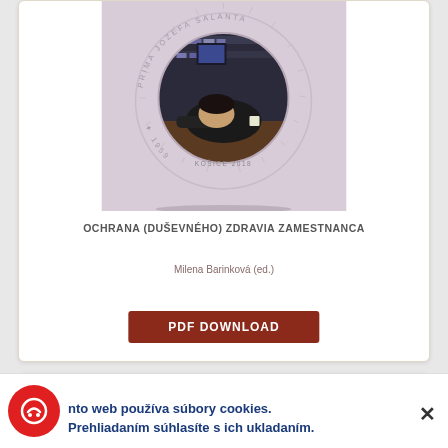[Figure (illustration): Book cover for 'Ochrana (duševného) zdravia zamestnanca' showing a circular photo of a person resting their head on a desk in an office setting, on a lavender/pink background with a circular decorative text logo around the image reading 'PRIMA JOZEFA SALANTA' and 'KOŠICE 2018', '1959']
OCHRANA (DUŠEVNÉHO) ZDRAVIA ZAMESTNANCA
Milena Barinková (ed.)
PDF DOWNLOAD
nto web používa súbory cookies. Prehliadaním súhlasíte s ich ukladaním.